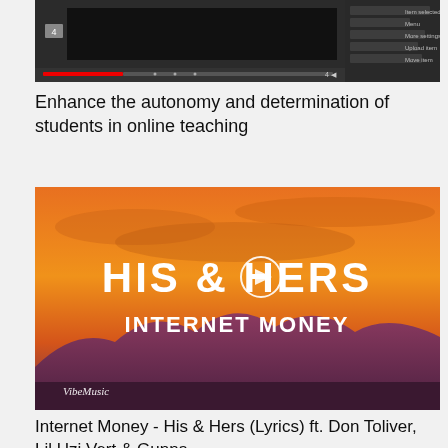[Figure (screenshot): Screenshot of a video or online teaching interface with a dark background, timeline bar, and sidebar list]
Enhance the autonomy and determination of students in online teaching
[Figure (photo): Orange/sunset album art for Internet Money - His & Hers with VibeMuse watermark and play button]
Internet Money - His & Hers (Lyrics) ft. Don Toliver, Lil Uzi Vert & Gunna
[Figure (photo): Partial thumbnail at bottom, dark/red tones, cropped]